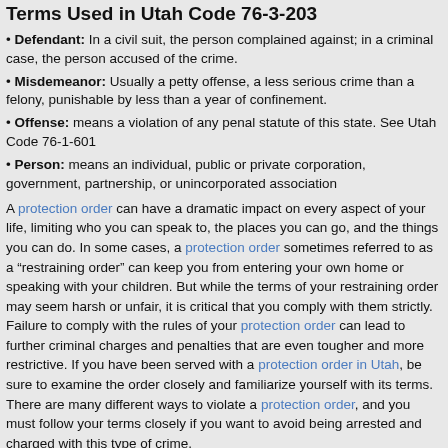Terms Used in Utah Code 76-3-203
Defendant: In a civil suit, the person complained against; in a criminal case, the person accused of the crime.
Misdemeanor: Usually a petty offense, a less serious crime than a felony, punishable by less than a year of confinement.
Offense: means a violation of any penal statute of this state. See Utah Code 76-1-601
Person: means an individual, public or private corporation, government, partnership, or unincorporated association
A protection order can have a dramatic impact on every aspect of your life, limiting who you can speak to, the places you can go, and the things you can do. In some cases, a protection order sometimes referred to as a “restraining order” can keep you from entering your own home or speaking with your children. But while the terms of your restraining order may seem harsh or unfair, it is critical that you comply with them strictly. Failure to comply with the rules of your protection order can lead to further criminal charges and penalties that are even tougher and more restrictive. If you have been served with a protection order in Utah, be sure to examine the order closely and familiarize yourself with its terms. There are many different ways to violate a protection order, and you must follow your terms closely if you want to avoid being arrested and charged with this type of crime.